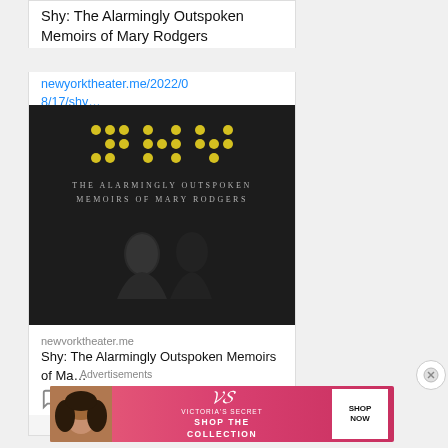Shy: The Alarmingly Outspoken Memoirs of Mary Rodgers
newyorktheater.me/2022/08/17/shy…
[Figure (photo): Book cover for 'Shy: The Alarmingly Outspoken Memoirs of Mary Rodgers' — dark background with yellow dots arranged in letters and subtitle text]
newyorktheater.me
Shy: The Alarmingly Outspoken Memoirs of Ma…
1
Advertisements
[Figure (photo): Victoria's Secret advertisement banner — pink gradient background, woman's face on left, Victoria's Secret logo and 'SHOP THE COLLECTION' text in center, white 'SHOP NOW' button on right]